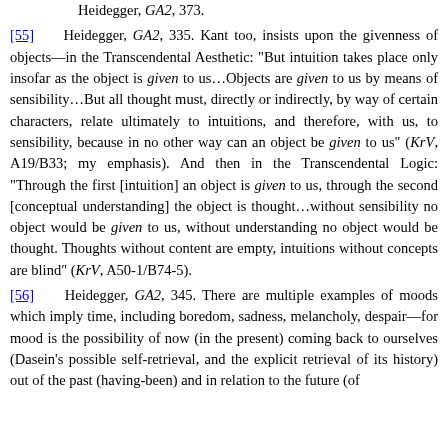Heidegger, GA2, 373.
[55] Heidegger, GA2, 335. Kant too, insists upon the givenness of objects—in the Transcendental Aesthetic: "But intuition takes place only insofar as the object is given to us…Objects are given to us by means of sensibility…But all thought must, directly or indirectly, by way of certain characters, relate ultimately to intuitions, and therefore, with us, to sensibility, because in no other way can an object be given to us" (KrV, A19/B33; my emphasis). And then in the Transcendental Logic: "Through the first [intuition] an object is given to us, through the second [conceptual understanding] the object is thought…without sensibility no object would be given to us, without understanding no object would be thought. Thoughts without content are empty, intuitions without concepts are blind" (KrV, A50-1/B74-5).
[56] Heidegger, GA2, 345. There are multiple examples of moods which imply time, including boredom, sadness, melancholy, despair—for mood is the possibility of now (in the present) coming back to ourselves (Dasein's possible self-retrieval, and the explicit retrieval of its history) out of the past (having-been) and in relation to the future (of